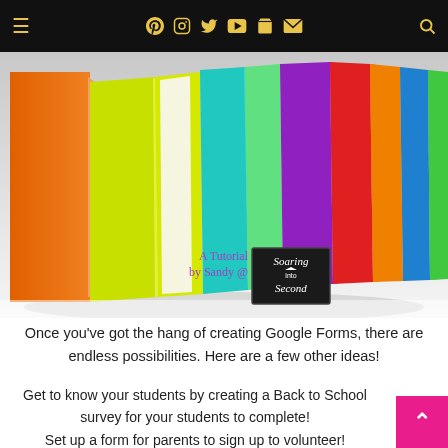Navigation bar with hamburger menu, social icons (Pinterest, Instagram, Twitter, YouTube, cart, mail), and search icon
[Figure (photo): Colorful spiral-bound notebooks/folders fanned out in a row against a light background, showing orange, yellow-green, cyan, mint, teal, purple, red, orange, blue, green covers. Tutorial by Sandy @ Soaring Into Second overlay text.]
Once you've got the hang of creating Google Forms, there are endless possibilities. Here are a few other ideas!
Get to know your students by creating a Back to School survey for your students to complete! Set up a form for parents to sign up to volunteer!